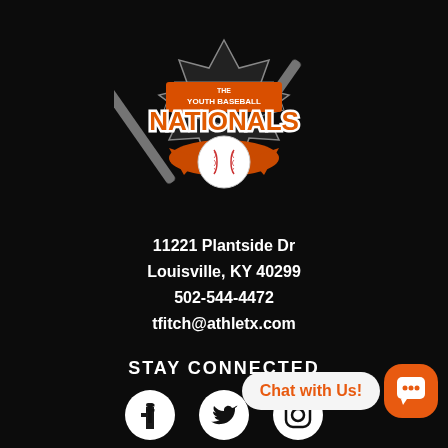[Figure (logo): The Youth Baseball Nationals logo: crossed baseball bats, shield shape with orange and white text 'NATIONALS', baseball in center, on black background]
11221 Plantside Dr
Louisville, KY 40299
502-544-4472
tfitch@athletx.com
STAY CONNECTED
[Figure (illustration): Social media icons: Facebook, Twitter, Instagram]
[Figure (other): Chat with Us! button with orange chat icon]